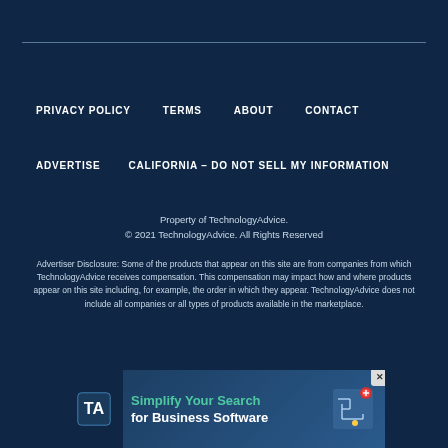PRIVACY POLICY
TERMS
ABOUT
CONTACT
ADVERTISE
CALIFORNIA – DO NOT SELL MY INFORMATION
Property of TechnologyAdvice.
© 2021 TechnologyAdvice. All Rights Reserved
Advertiser Disclosure: Some of the products that appear on this site are from companies from which TechnologyAdvice receives compensation. This compensation may impact how and where products appear on this site including, for example, the order in which they appear. TechnologyAdvice does not include all companies or all types of products available in the marketplace.
[Figure (infographic): TechnologyAdvice advertisement banner: logo on left, 'Simplify Your Search for Business Software' text in center, maze graphic on right, with close button (X) in top-right corner]